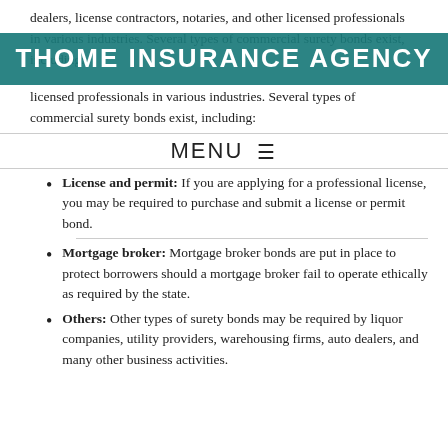dealers, license contractors, notaries, and other licensed professionals in various industries. Several types of commercial surety bonds exist, including:
THOME INSURANCE AGENCY
MENU ☰
License and permit: If you are applying for a professional license, you may be required to purchase and submit a license or permit bond.
Mortgage broker: Mortgage broker bonds are put in place to protect borrowers should a mortgage broker fail to operate ethically as required by the state.
Others: Other types of surety bonds may be required by liquor companies, utility providers, warehousing firms, auto dealers, and many other business activities.